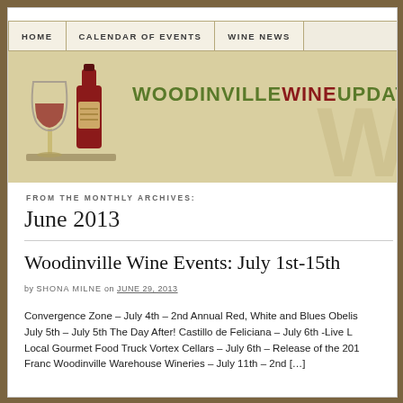[Figure (screenshot): Website navigation bar with HOME, CALENDAR OF EVENTS, WINE NEWS tabs on a beige background]
[Figure (illustration): Woodinville Wine Update website banner with wine glass and bottle illustration on olive/tan background with site name text]
FROM THE MONTHLY ARCHIVES:
June 2013
Woodinville Wine Events: July 1st-15th
by SHONA MILNE on JUNE 29, 2013
Convergence Zone – July 4th – 2nd Annual Red, White and Blues Obelis July 5th – July 5th The Day After! Castillo de Feliciana – July 6th -Live L Local Gourmet Food Truck Vortex Cellars – July 6th – Release of the 201 Franc Woodinville Warehouse Wineries – July 11th – 2nd […]